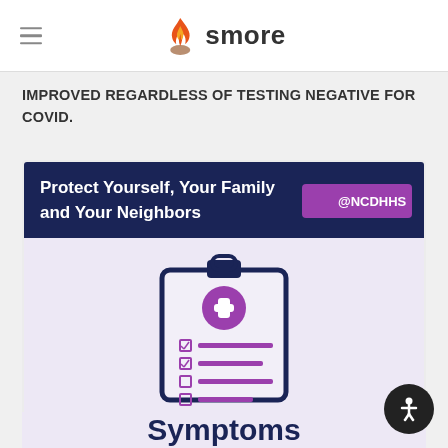smore
IMPROVED REGARDLESS OF TESTING NEGATIVE FOR COVID.
[Figure (infographic): NCDHHS infographic titled 'Protect Yourself, Your Family and Your Neighbors' with a medical clipboard icon and text 'Check My Symptoms']